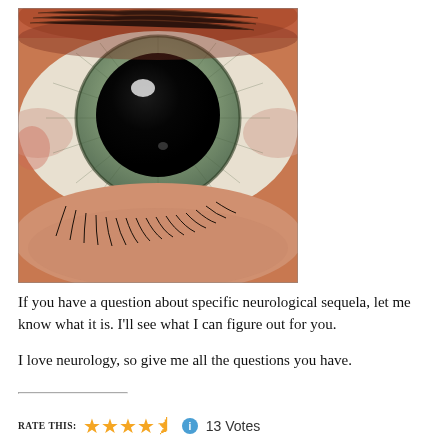[Figure (photo): Extreme close-up macro photograph of a human eye showing a very dilated (mydriatic) pupil — large black circular pupil filling most of the iris, with light green-gray iris visible around the edges, lower eyelid and eyelashes visible at the bottom, skin texture visible.]
If you have a question about specific neurological sequela, let me know what it is.  I'll see what I can figure out for you.
I love neurology, so give me all the questions you have.
RATE THIS: ★★★★½ ℹ 13 Votes